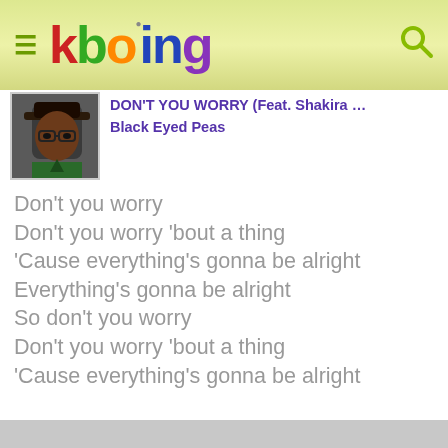kboing
DON'T YOU WORRY (Feat. Shakira … Black Eyed Peas
Don't you worry
Don't you worry 'bout a thing
'Cause everything's gonna be alright
Everything's gonna be alright
So don't you worry
Don't you worry 'bout a thing
'Cause everything's gonna be alright
Everything's gonna be alright